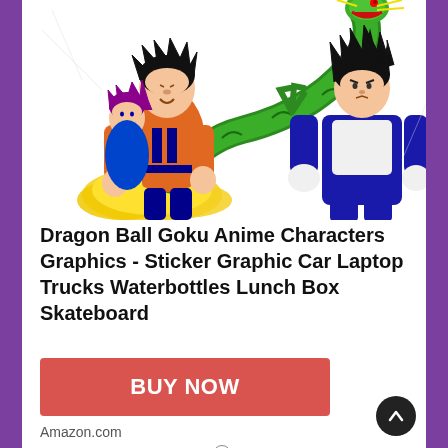[Figure (illustration): Dragon Ball Z anime characters including Goku, Gohan, Trunks, Vegeta and the green dragon Shenron, depicted in colorful manga art style]
Dragon Ball Goku Anime Characters Graphics - Sticker Graphic Car Laptop Trucks Waterbottles Lunch Box Skateboard
BUY NOW
Amazon.com
as of June 19, 2022 1:48 am